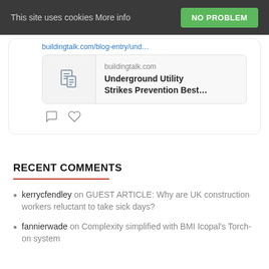This site uses cookies More info
NO PROBLEM
[Figure (screenshot): Social media post card showing a link preview to buildingtalk.com/blog-entry/und... with a news icon, domain 'buildingtalk.com', and title 'Underground Utility Strikes Prevention Best...' along with comment and like icons.]
RECENT COMMENTS
kerrycfendley on GUEST ARTICLE: Why are UK construction workers reluctant to take sick days?
fannierwade on Complexity simplified with BMI Icopal's Torch-on system